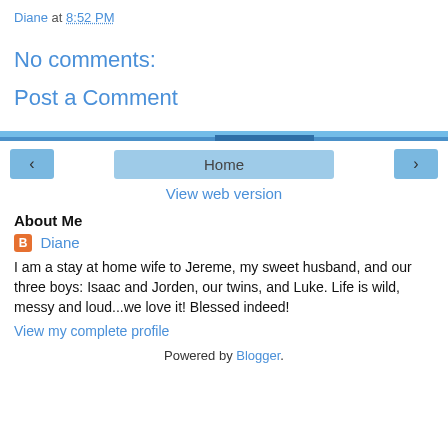Diane at 8:52 PM
No comments:
Post a Comment
‹  Home  ›
View web version
About Me
Diane
I am a stay at home wife to Jereme, my sweet husband, and our three boys: Isaac and Jorden, our twins, and Luke. Life is wild, messy and loud...we love it! Blessed indeed!
View my complete profile
Powered by Blogger.